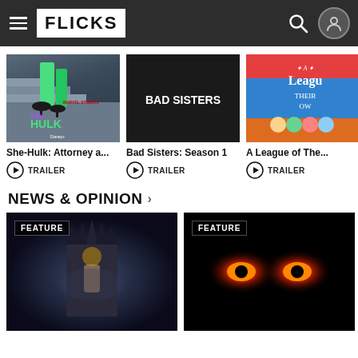FLICKS navigation bar with logo, search and user icons
[Figure (screenshot): She-Hulk: Attorney at Law show thumbnail with green hulk legs in heels on stairs, Marvel Studios Disney+ branding]
She-Hulk: Attorney a...
TRAILER
[Figure (screenshot): Bad Sisters: Season 1 show thumbnail with dark background and white text]
Bad Sisters: Season 1
TRAILER
[Figure (screenshot): A League of Their Own partial thumbnail showing cast members]
A League of The...
TRAILER
NEWS & OPINION
[Figure (photo): Feature article image: person sitting on iron throne in dark dramatic setting, Game of Thrones style]
[Figure (photo): Feature article image: glowing red eyes on black background, horror/monster style]